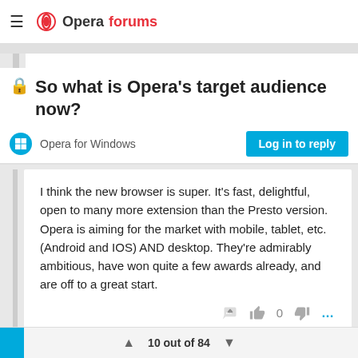Opera forums
🔒 So what is Opera's target audience now?
Opera for Windows
Log in to reply
I think the new browser is super. It's fast, delightful, open to many more extension than the Presto version. Opera is aiming for the market with mobile, tablet, etc. (Android and IOS) AND desktop. They're admirably ambitious, have won quite a few awards already, and are off to a great start.
10 out of 84